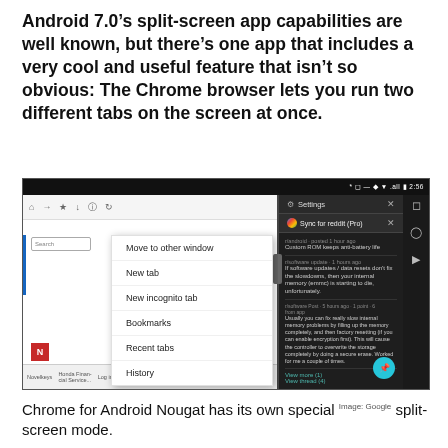Android 7.0’s split-screen app capabilities are well known, but there’s one app that includes a very cool and useful feature that isn’t so obvious: The Chrome browser lets you run two different tabs on the screen at once.
[Figure (screenshot): Screenshot of Android 7.0 split-screen showing Chrome browser with dropdown menu (Move to other window, New tab, New incognito tab, Bookmarks, Recent tabs, History) on the left, and a notifications/settings panel on the right showing 'Sync for reddit (Pro)' notification.]
Chrome for Android Nougat has its own special Image: Google split-screen mode.